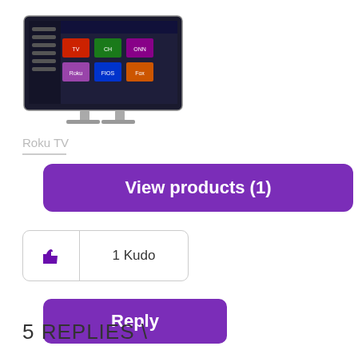[Figure (screenshot): A Roku TV / smart TV screenshot showing the Roku home screen interface with app icons.]
Roku TV
View products (1)
1 Kudo
Reply
All topics < >
5 REPLIES \